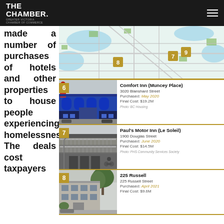THE CHAMBER. GREATER VICTORIA CHAMBER OF COMMERCE
made a number of purchases of hotels and other properties to house people experiencing homelessness. The deals cost taxpayers
[Figure (map): Map of Victoria area showing numbered location markers 7, 8, and 9 for property locations]
[Figure (photo): Photo of Comfort Inn (Muncey Place) - blue building at 3020 Blanshard Street]
Comfort Inn (Muncey Place)
3020 Blanshard Street
Purchased: May 2020
Final Cost: $19.2M
Photo: BC Housing
[Figure (photo): Photo of Paul's Motor Inn (Le Soleil) - multi-storey building at 1900 Douglas Street]
Paul's Motor Inn (Le Soleil)
1900 Douglas Street
Purchased: June 2020
Final Cost: $14.5M
Photo: PHS Community Services Society
[Figure (photo): Photo of 225 Russell - grey building at 225 Russell Street]
225 Russell
225 Russell Street
Purchased: April 2021
Final Cost: $9.6M